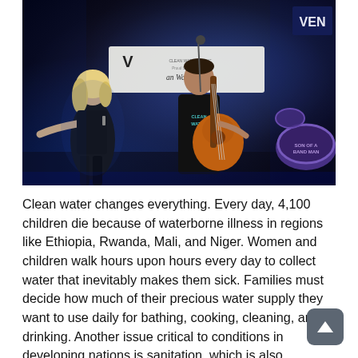[Figure (photo): Concert photo showing two performers on a dark stage with blue lighting. On the left, a blonde woman in a black tank top is singing and gesturing expressively. On the right, a man wearing a black 'Clean Water' t-shirt plays an acoustic guitar and sings into a microphone. A banner in the background reads 'an Water Music' with a V logo (partial). Top right corner shows a 'VEN' sign. A drum kit is partially visible on the far right.]
Clean water changes everything. Every day, 4,100 children die because of waterborne illness in regions like Ethiopia, Rwanda, Mali, and Niger. Women and children walk hours upon hours every day to collect water that inevitably makes them sick. Families must decide how much of their precious water supply they want to use daily for bathing, cooking, cleaning, and drinking. Another issue critical to conditions in developing nations is sanitation, which is also addressed by charity: water projects. When basic health information and sanitation is provided in these